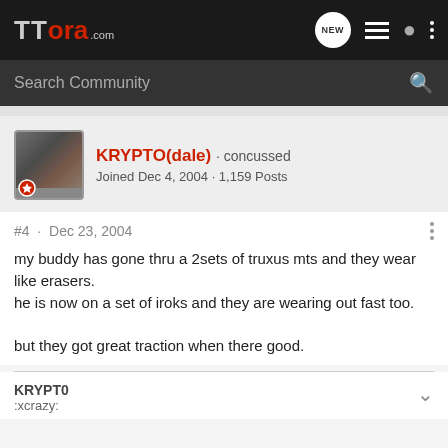TTORA.com
Search Community
KRYPTO(dale) · concussed
Joined Dec 4, 2004 · 1,159 Posts
#4 · Dec 23, 2004
my buddy has gone thru a 2sets of truxus mts and they wear like erasers.
he is now on a set of iroks and they are wearing out fast too.

but they got great traction when there good.
KRYPT0
:xcrazy: